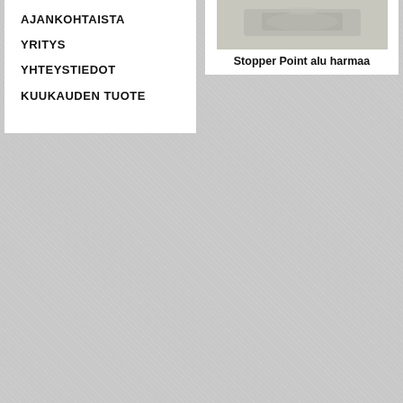AJANKOHTAISTA
YRITYS
YHTEYSTIEDOT
KUUKAUDEN TUOTE
[Figure (photo): Product photo of Stopper Point alu harmaa — a grey aluminum stopper product, partially visible]
Stopper Point alu harmaa